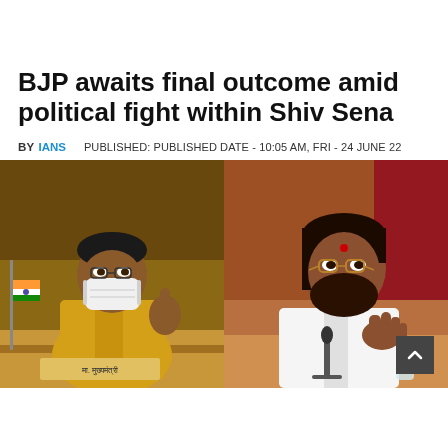BJP awaits final outcome amid political fight within Shiv Sena
BY IANS   PUBLISHED: PUBLISHED DATE - 10:05 AM, FRI - 24 JUNE 22
[Figure (photo): Two side-by-side photos: left shows a man in yellow kurta wearing a white face mask gesturing with one finger raised, with an Indian flag visible; right shows a bearded man with glasses and a red bindi speaking at a podium with a microphone, wearing a white shirt.]